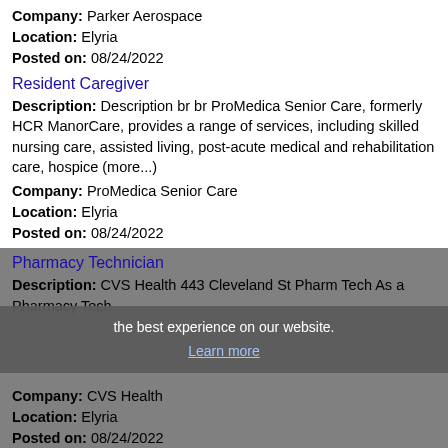Company: Parker Aerospace
Location: Elyria
Posted on: 08/24/2022
Resident Caregiver
Description: Description br br ProMedica Senior Care, formerly HCR ManorCare, provides a range of services, including skilled nursing care, assisted living, post-acute medical and rehabilitation care, hospice (more...)
Company: ProMedica Senior Care
Location: Elyria
Posted on: 08/24/2022
Pharmacy Technician
Description: CVS Health 443 Cleveland St Pharm Tech As a Pharmacy Tech
the best experience on our website.
Learn more
Company: CVS Health
Location: Elyria
Posted on: 08/24/2022
Got it!
Salary in Westland, Michigan Area | More details for Westland, Michigan Jobs |Salary
CDL-A Company Driver - Quick Apply!